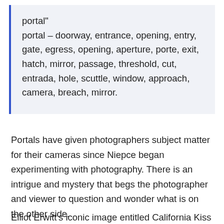portal"
portal – doorway, entrance, opening, entry, gate, egress, opening, aperture, porte, exit, hatch, mirror, passage, threshold, cut, entrada, hole, scuttle, window, approach, camera, breach, mirror.
Portals have given photographers subject matter for their cameras since Niepce began experimenting with photography. There is an intrigue and mystery that begs the photographer and viewer to question and wonder what is on the other side.
Elliot Erwitt's iconic image entitled California Kiss